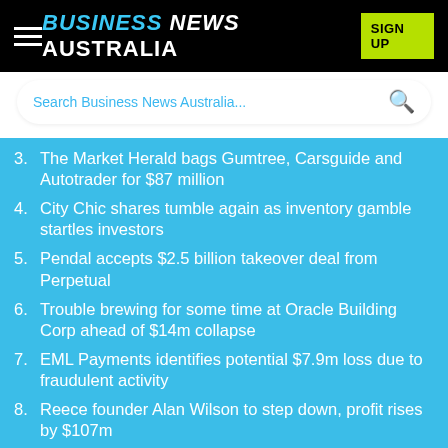BUSINESS NEWS AUSTRALIA
3. The Market Herald bags Gumtree, Carsguide and Autotrader for $87 million
4. City Chic shares tumble again as inventory gamble startles investors
5. Pendal accepts $2.5 billion takeover deal from Perpetual
6. Trouble brewing for some time at Oracle Building Corp ahead of $14m collapse
7. EML Payments identifies potential $7.9m loss due to fraudulent activity
8. Reece founder Alan Wilson to step down, profit rises by $107m
9. Domino's pushes into Malaysia, Singapore and Cambodia with $356m buyout, its largest ever